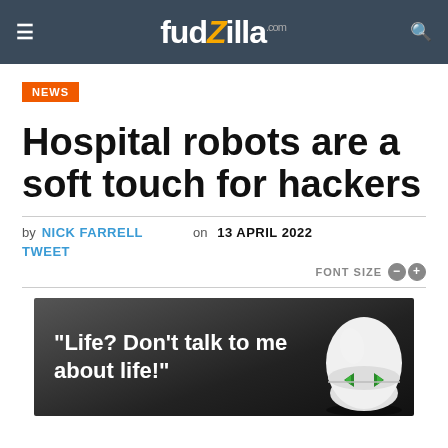fudzilla.com
NEWS
Hospital robots are a soft touch for hackers
by NICK FARRELL on 13 APRIL 2022
TWEET
FONT SIZE - +
[Figure (illustration): Robot character with white domed head and green eyes on dark background with text: "Life? Don't talk to me about life!"]